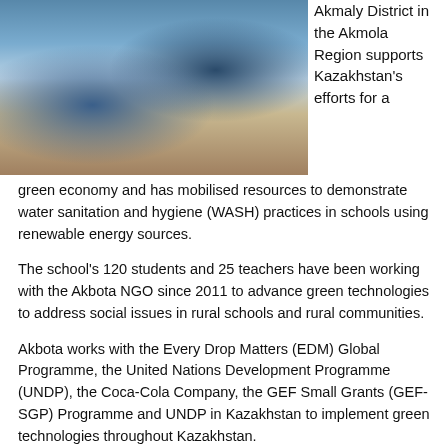[Figure (photo): Photo of students and teachers working with water containers outdoors, blue barrel visible, people in blue vests]
Akmaly District in the Akmola Region supports Kazakhstan's efforts for a green economy and has mobilised resources to demonstrate water sanitation and hygiene (WASH) practices in schools using renewable energy sources.
The school's 120 students and 25 teachers have been working with the Akbota NGO since 2011 to advance green technologies to address social issues in rural schools and rural communities.
Akbota works with the Every Drop Matters (EDM) Global Programme, the United Nations Development Programme (UNDP), the Coca-Cola Company, the GEF Small Grants (GEF-SGP) Programme and UNDP in Kazakhstan to implement green technologies throughout Kazakhstan.
“While working in rural schools, I have faced several challenges to be addressed, especially WASH practices in rural communities, schools and clinics,” said Vycheslavka Secondary School Director Tatyana Nemtsan.